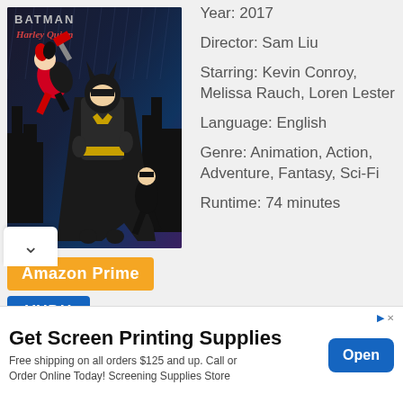[Figure (illustration): Batman and Harley Quinn animated movie poster showing Batman, Harley Quinn with a mallet, and Nightwing against a dark city background. Title text 'BATMAN' and 'Harley Quinn' visible at top.]
Year: 2017
Director: Sam Liu
Starring: Kevin Conroy, Melissa Rauch, Loren Lester
Language: English
Genre: Animation, Action, Adventure, Fantasy, Sci-Fi
Runtime: 74 minutes
Amazon Prime
VUDU
Get Screen Printing Supplies
Free shipping on all orders $125 and up. Call or Order Online Today! Screening Supplies Store